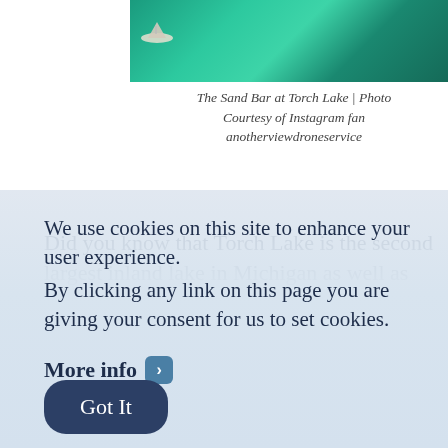[Figure (photo): Aerial photo of The Sand Bar at Torch Lake, showing turquoise water with a small boat, partial view cropped at top]
The Sand Bar at Torch Lake | Photo Courtesy of Instagram fan anotherviewdroneservice
Did you know that Torch Lake is the second largest inland lake in Michigan as well as one of
We use cookies on this site to enhance your user experience.
By clicking any link on this page you are giving your consent for us to set cookies.
More info ›
Got It